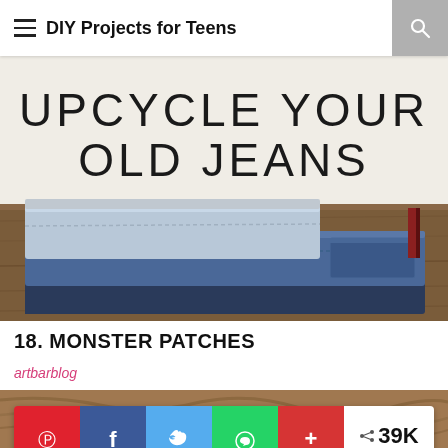DIY Projects for Teens
[Figure (photo): Hero banner image showing stacked folded blue denim jeans on a wooden surface, with overlay text reading UPCYCLE YOUR OLD JEANS in thin uppercase letters]
18. MONSTER PATCHES
artbarblog
[Figure (photo): Partial photo showing a person's hair, cropped at the bottom of the page]
[Figure (infographic): Social share bar with Pinterest (red), Facebook (blue), Twitter (light blue), WhatsApp (green), More (red) buttons, and a share count showing 39K SHARES]